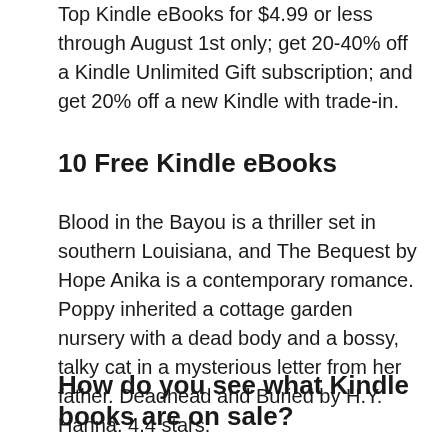Top Kindle eBooks for $4.99 or less through August 1st only; get 20-40% off a Kindle Unlimited Gift subscription; and get 20% off a new Kindle with trade-in.
10 Free Kindle eBooks
Blood in the Bayou is a thriller set in southern Louisiana, and The Bequest by Hope Anika is a contemporary romance.
Poppy inherited a cottage garden nursery with a dead body and a bossy, talky cat in a mysterious letter from her father. Deadhead and Buried by H.Y. Hanna. 4.4 stars.
How do you see what Kindle books are on sale?